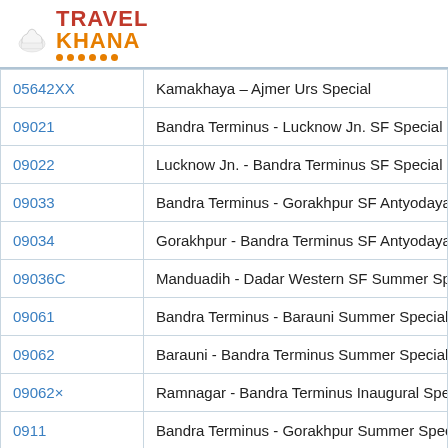[Figure (logo): TravelKhana logo with chef hat icon and orange dots underline]
| Train Number | Train Name |
| --- | --- |
| 05642XX | Kamakhaya – Ajmer Urs Special |
| 09021 | Bandra Terminus - Lucknow Jn. SF Special |
| 09022 | Lucknow Jn. - Bandra Terminus SF Special |
| 09033 | Bandra Terminus - Gorakhpur SF Antyodaya S |
| 09034 | Gorakhpur - Bandra Terminus SF Antyodaya S |
| 09036C | Manduadih - Dadar Western SF Summer Spe |
| 09061 | Bandra Terminus - Barauni Summer Special |
| 09062 | Barauni - Bandra Terminus Summer Special |
| 09062× | Ramnagar - Bandra Terminus Inaugural Spec |
| 0911 | Bandra Terminus - Gorakhpur Summer Speci |